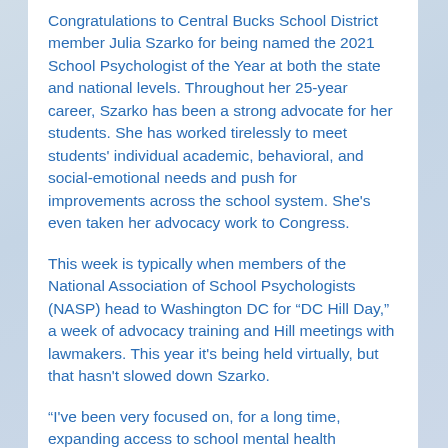Congratulations to Central Bucks School District member Julia Szarko for being named the 2021 School Psychologist of the Year at both the state and national levels. Throughout her 25-year career, Szarko has been a strong advocate for her students. She has worked tirelessly to meet students' individual academic, behavioral, and social-emotional needs and push for improvements across the school system. She's even taken her advocacy work to Congress.
This week is typically when members of the National Association of School Psychologists (NASP) head to Washington DC for “DC Hill Day,” a week of advocacy training and Hill meetings with lawmakers. This year it's being held virtually, but that hasn't slowed down Szarko.
“I've been very focused on, for a long time, expanding access to school mental health services,” Szarko said. “Also we are facing a huge national shortage of school